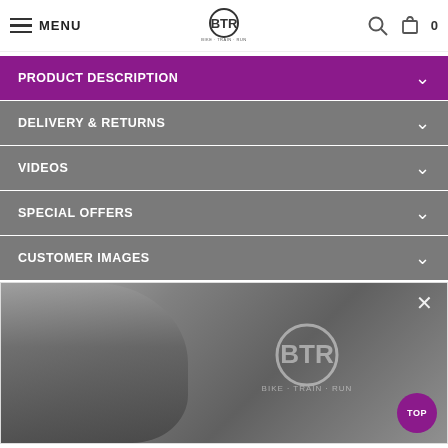MENU | BTR BIKE·TRAIN·RUN | Search | Cart 0
PRODUCT DESCRIPTION
DELIVERY & RETURNS
VIDEOS
SPECIAL OFFERS
CUSTOMER IMAGES
[Figure (screenshot): A blurred grayscale photo showing a person with the BTR (Bike Train Run) logo overlaid in the background. A close (X) button is visible top-right and a purple TOP button is at the bottom-right.]